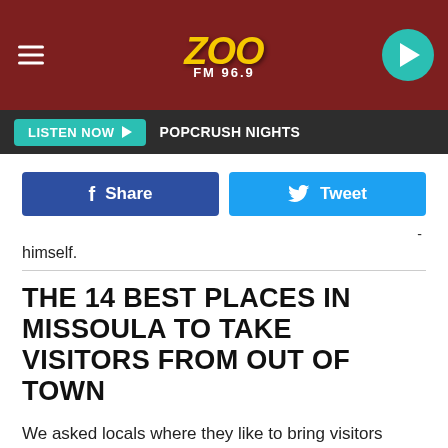ZOO FM 96.9
LISTEN NOW  POPCRUSH NIGHTS
Share   Tweet
-
himself.
THE 14 BEST PLACES IN MISSOULA TO TAKE VISITORS FROM OUT OF TOWN
We asked locals where they like to bring visitors when they take a trip out to Missoula - and here's what they came up with.
Gallery Credit: Mike Smith